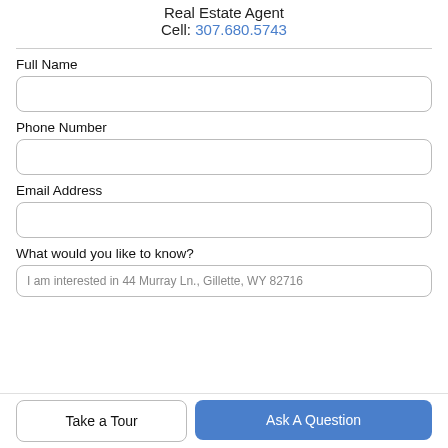Real Estate Agent
Cell: 307.680.5743
Full Name
Phone Number
Email Address
What would you like to know?
I am interested in 44 Murray Ln., Gillette, WY 82716
Take a Tour
Ask A Question